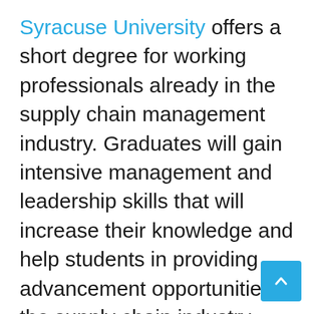Syracuse University offers a short degree for working professionals already in the supply chain management industry. Graduates will gain intensive management and leadership skills that will increase their knowledge and help students in providing advancement opportunities in the supply chain industry. The MBA-SCM program consists of fifty-four credits with thirty-six core credits and includes courses such as Principles of Management Science, Supply Chain, and Logistics Management, and [Supply Chain and Supply Chain...]